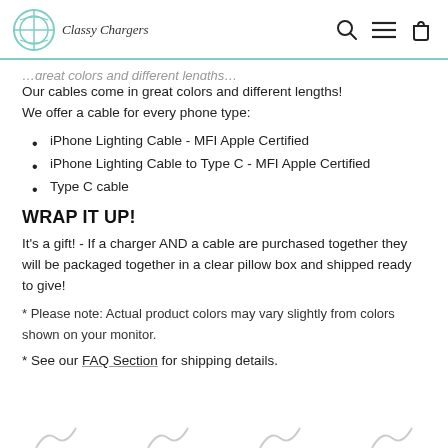Classy Chargers [logo with search, menu, and cart icons]
Our cables come in great colors and different lengths! We offer a cable for every phone type:
iPhone Lighting Cable - MFI Apple Certified
iPhone Lighting Cable to Type C - MFI Apple Certified
Type C cable
WRAP IT UP!
It's a gift! - If a charger AND a cable are purchased together they will be packaged together in a clear pillow box and shipped ready to give!
* Please note: Actual product colors may vary slightly from colors shown on your monitor.
* See our FAQ Section for shipping details.